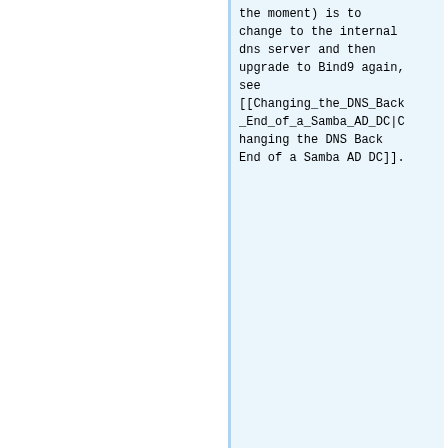the moment) is to change to the internal dns server and then upgrade to Bind9 again, see [[Changing_the_DNS_Back_End_of_a_Samba_AD_DC|Changing the DNS Back End of a Samba AD DC]].
+ }}
:{{Imbox
:{{Imbox
Line 147:
Line 204:
For details, see [[Testing_Dynamic_DNS_Updates|Testing Dynamic
For details, see [[Testing_Dynamic_DNS_Updates|Testing Dynamic